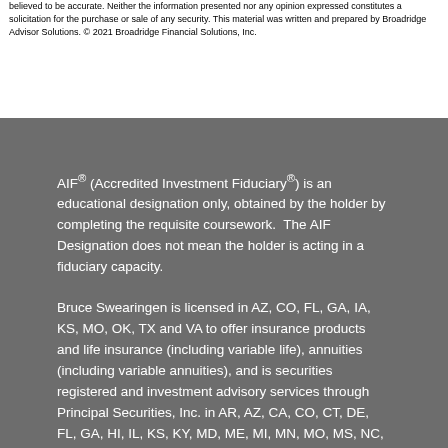believed to be accurate. Neither the information presented nor any opinion expressed constitutes a solicitation for the purchase or sale of any security. This material was written and prepared by Broadridge Advisor Solutions. © 2021 Broadridge Financial Solutions, Inc.
AIF® (Accredited Investment Fiduciary®) is an educational designation only, obtained by the holder by completing the requisite coursework.  The AIF Designation does not mean the holder is acting in a fiduciary capacity.
Bruce Swearingen is licensed in AZ, CO, FL, GA, IA, KS, MO, OK, TX and VA to offer insurance products and life insurance (including variable life), annuities (including variable annuities), and is securities registered and investment advisory services through Principal Securities, Inc. in AR, AZ, CA, CO, CT, DE, FL, GA, HI, IL, KS, KY, MD, ME, MI, MN, MO, MS, NC, OH, OK,